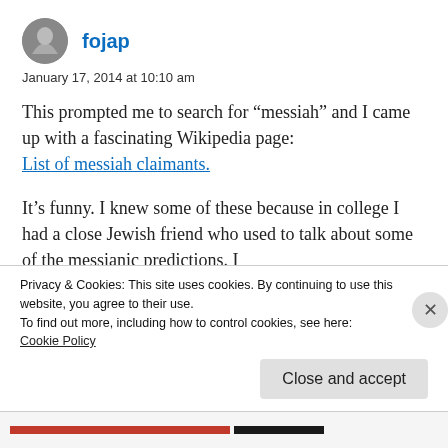fojap
January 17, 2014 at 10:10 am
This prompted me to search for “messiah” and I came up with a fascinating Wikipedia page: List of messiah claimants.
It’s funny. I knew some of these because in college I had a close Jewish friend who used to talk about some of the messianic predictions. I
Privacy & Cookies: This site uses cookies. By continuing to use this website, you agree to their use.
To find out more, including how to control cookies, see here: Cookie Policy
Close and accept